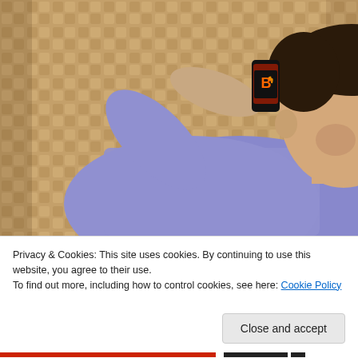[Figure (photo): A man in a purple/blue checkered shirt drinking from a black energy drink can, leaning his head back. Background is a woven bamboo/rattan wall texture in tan/brown tones.]
Privacy & Cookies: This site uses cookies. By continuing to use this website, you agree to their use.
To find out more, including how to control cookies, see here: Cookie Policy